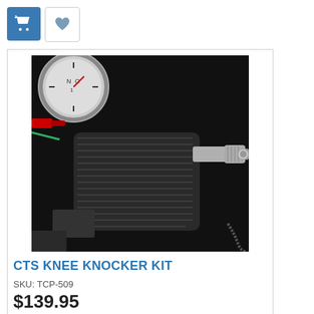[Figure (screenshot): Two UI buttons at top-left: a blue cart icon button and a gray heart icon button]
[Figure (photo): Close-up photo of a CTS Knee Knocker Kit installed on a vehicle, showing a textured fabric-wrapped component with a metal fitting/valve, against a dark background with a gauge visible in the upper left]
CTS KNEE KNOCKER KIT
SKU: TCP-509
$139.95
Market price: $149.95 Save 7%